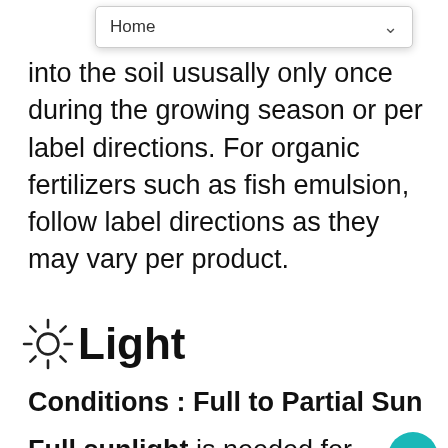Home
into the soil ususally only once during the growing season or per label directions. For organic fertilizers such as fish emulsion, follow label directions as they may vary per product.
☀ Light
Conditions : Full to Partial Sun
Full sunlight is needed for many plants to assume their full potential. Many of these plants will do fine with a little less sunlight, although they may not flower as heavily or their foliage as vibrant. Areas on the southern or western sides of buildings usually are the